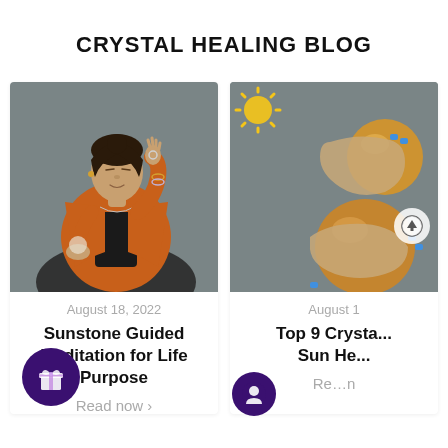CRYSTAL HEALING BLOG
[Figure (photo): Woman in orange jacket meditating with eyes closed, holding crystals, seated cross-legged against gray background]
August 18, 2022
Sunstone Guided Meditation for Life Purpose
Read now >
[Figure (photo): Hands with blue nails holding golden/amber crystal spheres against gray background, with yellow sun illustration overlay and upload arrow icon]
August 1
Top 9 Crysta... Sun He...
Re...n